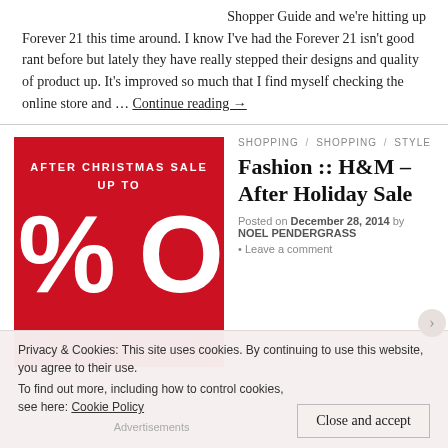Shopper Guide and we're hitting up Forever 21 this time around. I know I've had the Forever 21 isn't good rant before but lately they have really stepped their designs and quality of product up. It's improved so much that I find myself checking the online store and … Continue reading →
[Figure (illustration): Red background promotional image with white text reading 'AFTER CHRISTMAS SALE UP TO' and large '%' and 'O' characters]
SHOPPING / SHOPPING / STYLE
Fashion :: H&M – After Holiday Sale
Posted on December 28, 2014 by NOEL PENDERGRASS • Leave a comment
Happy Holidays, I sure ... Christmas was great this year but its over and
Privacy & Cookies: This site uses cookies. By continuing to use this website, you agree to their use.
To find out more, including how to control cookies, see here: Cookie Policy
Close and accept